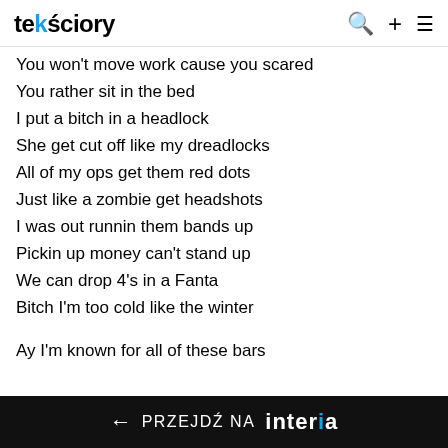tekściory
You won't move work cause you scared
You rather sit in the bed
I put a bitch in a headlock
She get cut off like my dreadlocks
All of my ops get them red dots
Just like a zombie get headshots
I was out runnin them bands up
Pickin up money can't stand up
We can drop 4's in a Fanta
Bitch I'm too cold like the winter
Ay I'm known for all of these bars
← PRZEJDŹ NA interia